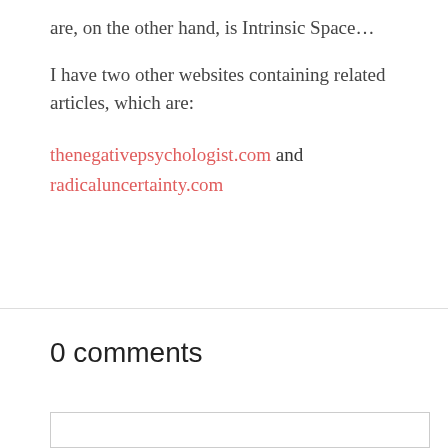are, on the other hand, is Intrinsic Space…
I have two other websites containing related articles, which are:
thenegativepsychologist.com and radicaluncertainty.com
0 comments